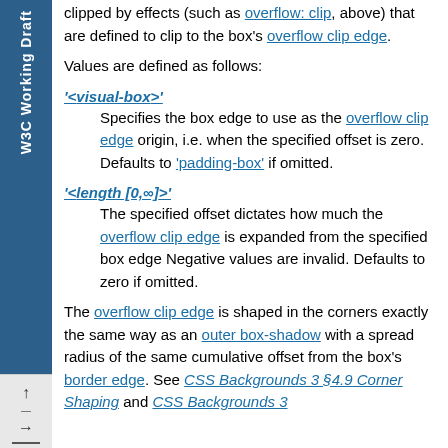clipped by effects (such as 'overflow: clip', above) that are defined to clip to the box's overflow clip edge.
Values are defined as follows:
'<visual-box>'
Specifies the box edge to use as the overflow clip edge origin, i.e. when the specified offset is zero. Defaults to 'padding-box' if omitted.
'<length [0,∞]>'
The specified offset dictates how much the overflow clip edge is expanded from the specified box edge Negative values are invalid. Defaults to zero if omitted.
The overflow clip edge is shaped in the corners exactly the same way as an outer box-shadow with a spread radius of the same cumulative offset from the box's border edge. See CSS Backgrounds 3 §4.9 Corner Shaping and CSS Backgrounds 3